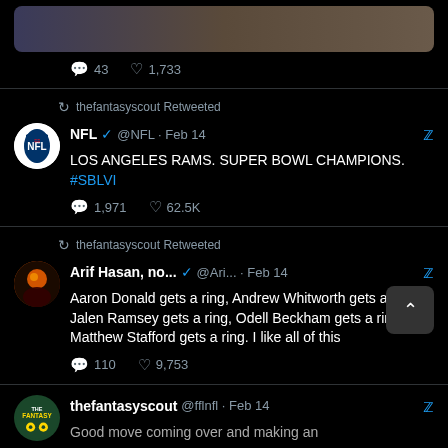[Figure (screenshot): Top of page showing tweet image stub with comment count 43 and like count 1,733]
thefantasyscout Retweeted
NFL @NFL · Feb 14 — LOS ANGELES RAMS. SUPER BOWL CHAMPIONS. #SBLVI — 1,971 comments, 62.5K likes
thefantasyscout Retweeted
Arif Hasan, no... @Ari... · Feb 14 — Aaron Donald gets a ring, Andrew Whitworth gets a ring, Jalen Ramsey gets a ring, Odell Beckham gets a ring, Matthew Stafford gets a ring. I like all of this — 110 comments, 9,753 likes
thefantasyscout @fflnfl · Feb 14 — Good move coming over and making an